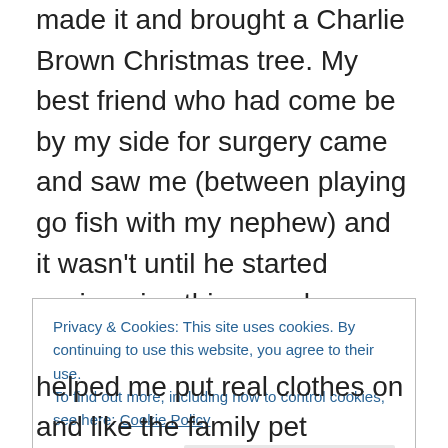made it and brought a Charlie Brown Christmas tree. My best friend who had come be by my side for surgery came and saw me (between playing go fish with my nephew) and it wasn't until he started saying nice things as he hugged me goodbye that I realized I could not hear a damn thing out of my right ear. Wtf. I felt immense pressure in that side but no hearing. No words were getting through that Great Barrier Reef. I decided not to panic and like with all awful things, deny it is actually happening. Jason in a feat of actual romance, brought me the sweater he had been wearing the day before so I
Privacy & Cookies: This site uses cookies. By continuing to use this website, you agree to their use.
To find out more, including how to control cookies, see here: Cookie Policy
helped me put real clothes on and like the family pet